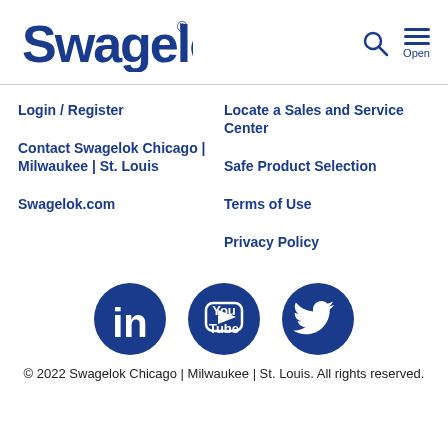[Figure (logo): Swagelok logo in dark blue cursive font with registered trademark symbol]
Login / Register
Locate a Sales and Service Center
Contact Swagelok Chicago | Milwaukee | St. Louis
Safe Product Selection
Swagelok.com
Terms of Use
Privacy Policy
[Figure (illustration): Three dark blue circle social media icons: LinkedIn, YouTube, Twitter]
© 2022 Swagelok Chicago | Milwaukee | St. Louis. All rights reserved.